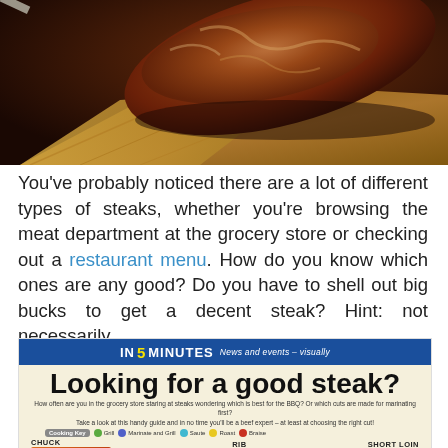[Figure (photo): A grilled steak on a wooden cutting board, photographed from above]
You've probably noticed there are a lot of different types of steaks, whether you're browsing the meat department at the grocery store or checking out a restaurant menu. How do you know which ones are any good? Do you have to shell out big bucks to get a decent steak? Hint: not necessarily.
[Figure (infographic): In 5 Minutes infographic titled 'Looking for a good steak?' with a cooking key and beef cut guide showing Chuck, Rib, and Short Loin sections]